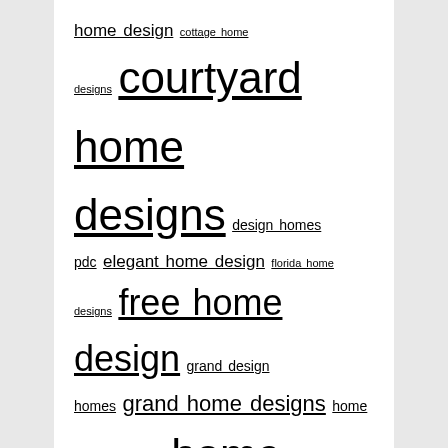home design cottage home designs courtyard home designs design homes pdc elegant home design florida home designs free home design grand design homes grand home designs home decks designs home design center home design company home designer architectural home design games home design jobs home design sites home elevation design home fashion designs home fence design home furniture design home garden design home gym design home interior design home logo design home tiles design innovative home design log